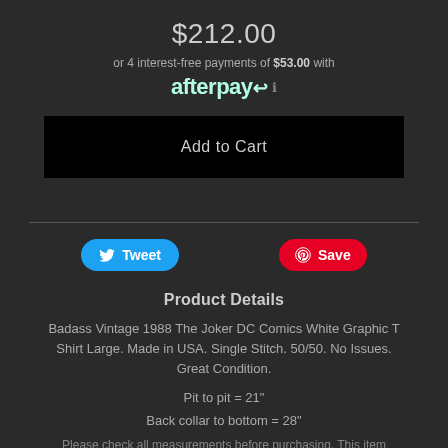$212.00
or 4 interest-free payments of $53.00 with afterpay ℹ
Add to Cart
Tweet
Save
Product Details
Badass Vintage 1988 The Joker DC Comics White Graphic T Shirt Large. Made in USA. Single Stitch. 50/50. No Issues. Great Condition.
Pit to pit = 21"
Back collar to bottom = 28"
Please check all measurements before purchasing. This item